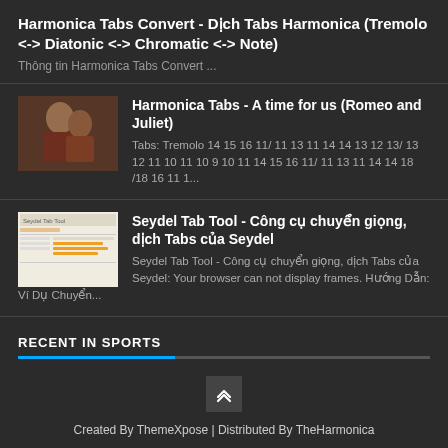Harmonica Tabs Convert - Dịch Tabs Harmonica (Tremolo <-> Diatonic <-> Chromatic <-> Note)
Thông tin Harmonica Tabs Convert ...
[Figure (photo): Thumbnail image of a painting depicting a woman figure]
Harmonica Tabs - A time for us (Romeo and Juliet)
Tabs: Tremolo 14 15 16 11/ 11 13 11 14 14 13 12 13/ 13 12 11 10 11 10 9 10 11 14 15 16 11/ 11 13 11 14 14 18 /18 16 11 1...
[Figure (screenshot): Screenshot of Seydel Tab Tool interface]
Seydel Tab Tool - Công cụ chuyển giọng, dịch Tabs của Seydel
Seydel Tab Tool - Công cụ chuyển giọng, dịch Tabs của Seydel: Your browser can not display frames. Hướng Dẫn: Ví Dụ Chuyển...
RECENT IN SPORTS
Created By ThemeXpose | Distributed By TheHarmonica